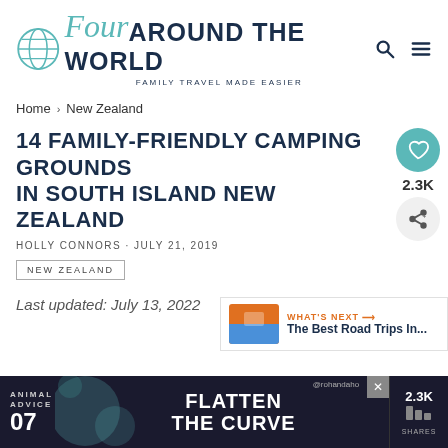[Figure (logo): Four Around The World logo with globe icon and tagline 'Family Travel Made Easier']
Home › New Zealand
14 FAMILY-FRIENDLY CAMPING GROUNDS IN SOUTH ISLAND NEW ZEALAND
HOLLY CONNORS · JULY 21, 2019
NEW ZEALAND
Last updated: July 13, 2022
[Figure (screenshot): What's Next panel: The Best Road Trips In...]
[Figure (screenshot): Advertisement banner: Animal Advice 07, Flatten The Curve, @rohandaho handle, with close button]